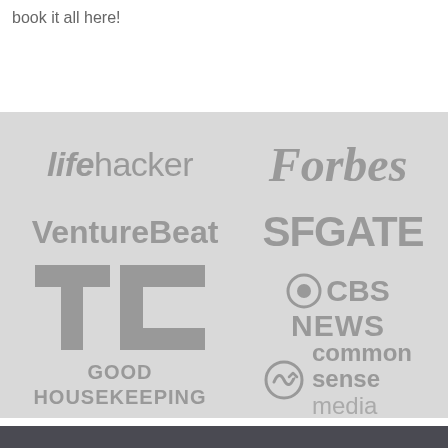book it all here!
[Figure (logo): Media logos on gray background: Lifehacker, Forbes, VentureBeat, SFGATE, TechCrunch (TC), CBS News, Good Housekeeping, Common Sense Media]